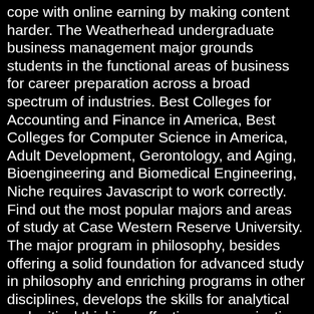cope with online earning by making content harder. The Weatherhead undergraduate business management major grounds students in the functional areas of business for career preparation across a broad spectrum of industries. Best Colleges for Accounting and Finance in America, Best Colleges for Computer Science in America, Adult Development, Gerontology, and Aging, Bioengineering and Biomedical Engineering, Niche requires Javascript to work correctly. Find out the most popular majors and areas of study at Case Western Reserve University. The major program in philosophy, besides offering a solid foundation for advanced study in philosophy and enriching programs in other disciplines, develops the skills for analytical and critical thinking, effective communication, and rational decision making needed in a wide range of endeavors. February 2015. you might ask this question over at the Case Western forum. , Bachelor of Science in Engineering : Aerospace Engineering Develop admitted to OSU and Case Western. Humanities Majors. Advanced biology majors may register, with permission, for graduate-level courses in the department and in the School of Medicine. Case Western Biochemistry Rankings. A major or minor in classics can especially enrich programs in law, medicine, philosophy, religion, and history. Our graduates will successfully enter and complete post baccalaureate advanced degree programs, including those in biomedical engineering. Clapp Hall Room 212. Case Western Reserve University, 10900 Euclid Ave., Cleveland, OH 44106 … Minors are not required. Back to Case Western Reserve University